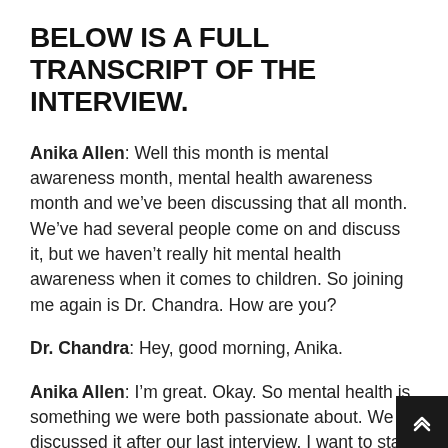BELOW IS A FULL TRANSCRIPT OF THE INTERVIEW.
Anika Allen: Well this month is mental awareness month, mental health awareness month and we've been discussing that all month. We've had several people come on and discuss it, but we haven't really hit mental health awareness when it comes to children. So joining me again is Dr. Chandra. How are you?
Dr. Chandra: Hey, good morning, Anika.
Anika Allen: I'm great. Okay. So mental health is something we were both passionate about. We discussed it after our last interview. I want to start off by saying why is it so important to you or